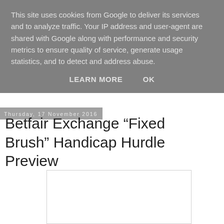This site uses cookies from Google to deliver its services and to analyze traffic. Your IP address and user-agent are shared with Google along with performance and security metrics to ensure quality of service, generate usage statistics, and to detect and address abuse.
LEARN MORE   OK
Thursday, 17 November 2016
Betfair Exchange “Fixed Brush” Handicap Hurdle Preview
[Figure (other): Advertisement or embedded content block, white rectangle with border]